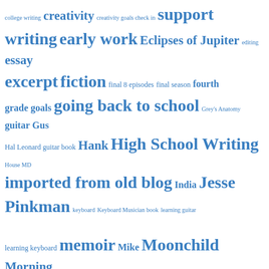[Figure (other): Tag cloud with blue hyperlinks of various font sizes representing blog/writing topics including: college writing, creativity, creativity goals, check in, support, writing, early work, Eclipses of Jupiter, editing, essay, excerpt, fiction, final 8 episodes, final season, fourth grade, goals, going back to school, Grey's Anatomy, guitar, Gus, Hal Leonard guitar book, Hank, High School Writing, House MD, imported from old blog, India, Jesse Pinkman, keyboard, Keyboard Musician book, learning guitar, learning keyboard, memoir, Mike, Moonchild, Morning Pages, non-fiction, Orcas Island, organic chemistry, personal essay, piano, Portland State University, pre-med, predictions, relationships, review, revising, science-fiction, Screenwriting, season 2]